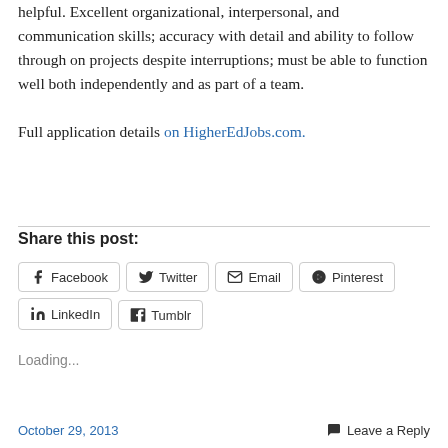helpful. Excellent organizational, interpersonal, and communication skills; accuracy with detail and ability to follow through on projects despite interruptions; must be able to function well both independently and as part of a team.

Full application details on HigherEdJobs.com.
Share this post:
Loading...
October 29, 2013    Leave a Reply